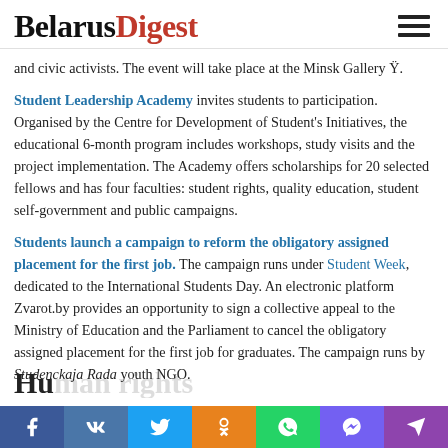BelarusDigest
and civic activists. The event will take place at the Minsk Gallery Ÿ.
Student Leadership Academy invites students to participation. Organised by the Centre for Development of Student's Initiatives, the educational 6-month program includes workshops, study visits and the project implementation. The Academy offers scholarships for 20 selected fellows and has four faculties: student rights, quality education, student self-government and public campaigns.
Students launch a campaign to reform the obligatory assigned placement for the first job. The campaign runs under Student Week, dedicated to the International Students Day. An electronic platform Zvarot.by provides an opportunity to sign a collective appeal to the Ministry of Education and the Parliament to cancel the obligatory assigned placement for the first job for graduates. The campaign runs by Studenckaja Rada youth NGO.
Hu…rights
f VK Twitter OK WhatsApp Viber Telegram